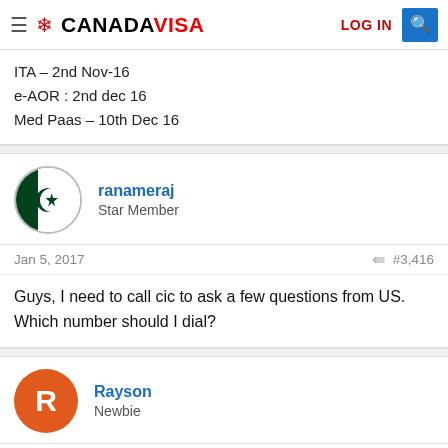CANADAVISA — LOG IN
ITA – 2nd Nov-16
e-AOR : 2nd dec 16
Med Paas – 10th Dec 16
[Figure (other): Pakistan flag circular avatar for user ranameraj]
ranameraj
Star Member
Jan 5, 2017  #3,416
Guys, I need to call cic to ask a few questions from US. Which number should I dial?
[Figure (other): Orange circular avatar with letter R for user Rayson]
Rayson
Newbie
Jan 5, 2017  #3,417
A number that it...